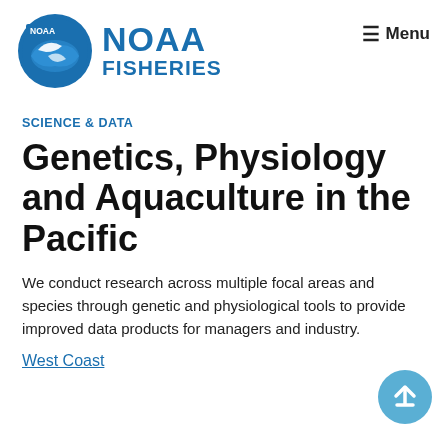[Figure (logo): NOAA Fisheries logo with NOAA circular emblem and NOAA FISHERIES text in blue]
Menu
SCIENCE & DATA
Genetics, Physiology and Aquaculture in the Pacific
We conduct research across multiple focal areas and species through genetic and physiological tools to provide improved data products for managers and industry.
West Coast